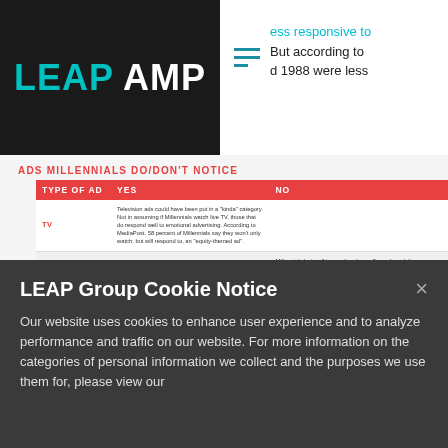[Figure (logo): LEAP AMP logo on black background with teal LEAP and white AMP text]
ess responsive to
But according to
d 1988 were less
ADS MILLENNIALS DO/DON'T NOTICE
| TYPE OF AD | YES | NO |
| --- | --- | --- |
| TV | Television ads could have been put in a "kinda" category. Not in assuming if Millennials watch live TV, those that do respond well to emotional advertising. According to MediaPost, 58 percent of Millennials say they won't only watch, but will respond to, an "equity-themed ad". |  |
| PHONE |  | Millennials hate talking on the phone. If your brand, for some reason, has called them, they already wrote you off. Telecommunications company, O2, found the phone app was the fifth most used app among the entire general public, behind music, games and social media apps. |
| PINTEREST | Pinterest was slow to attract Millennials. Since launching pin ads in September 2013, and video pins in 2016, it now reaches 80 percent of what Facebook ads reach, each month. |  |
| TWITTER |  | Though once the most used social media network, time spent on Twitter is slowly decreasing, compared to its social brothers and sisters. Social Media Examiner found 65 percent of Millennials will spend the same amount of time on Twitter in 2017, compared to 2016. |
| RADIO |  | Hopefully this doesn't surprise you. With Spotify, Apple Music and Bluetooth, not many Millennial stickle to the radio. In fact, 94 percent of Millennials don't trust traditional forms of advertisements, according to Hubspot. |
LEAP Group Cookie Notice
Our website uses cookies to enhance user experience and to analyze performance and traffic on our website. For more information on the categories of personal information we collect and the purposes we use them for, please view our